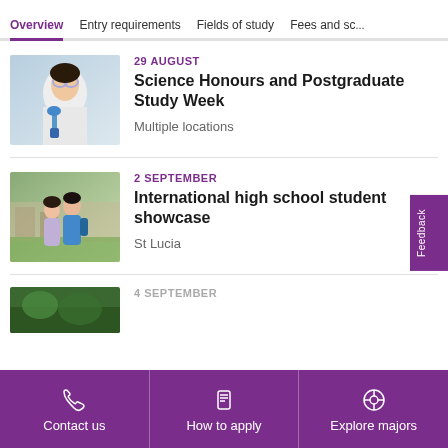Overview | Entry requirements | Fields of study | Fees and sc...
[Figure (photo): A female scientist in a lab wearing safety goggles holding a pipette]
29 AUGUST
Science Honours and Postgraduate Study Week
Multiple locations
[Figure (photo): Two international students walking on a university campus]
2 SEPTEMBER
International high school student showcase
St Lucia
[Figure (photo): Partially visible third event with green background]
Contact us | How to apply | Explore majors